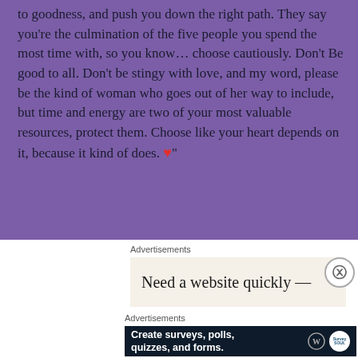to goodness, and push you down the right path. They say you're the culmination of the five people you spend the most time with, so you know… choose cautiously. Don't Be good to all. Don't be stingy with love, and my word, please be the kind of woman who goes out of her way to include, but time and energy are two of your most valuable resources, protect them. Choose like your heart depends on it, because it kind of does. ❤️"
Advertisements
[Figure (screenshot): Advertisement for website builder showing text 'Need a website quickly —' on beige background]
Advertisements
[Figure (screenshot): Dark blue advertisement: 'Create surveys, polls, quizzes, and forms.' with WordPress and SurveyMonkey logos]